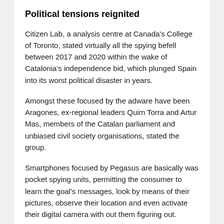Political tensions reignited
Citizen Lab, a analysis centre at Canada's College of Toronto, stated virtually all the spying befell between 2017 and 2020 within the wake of Catalonia's independence bid, which plunged Spain into its worst political disaster in years.
Amongst these focused by the adware have been Aragones, ex-regional leaders Quim Torra and Artur Mas, members of the Catalan parliament and unbiased civil society organisations, stated the group.
Smartphones focused by Pegasus are basically was pocket spying units, permitting the consumer to learn the goal's messages, look by means of their pictures, observe their location and even activate their digital camera with out them figuring out.
The malware was on the centre of a row in 2021 after a collaborative investigation by a number of media shops reported that governments used it to spy on activists,